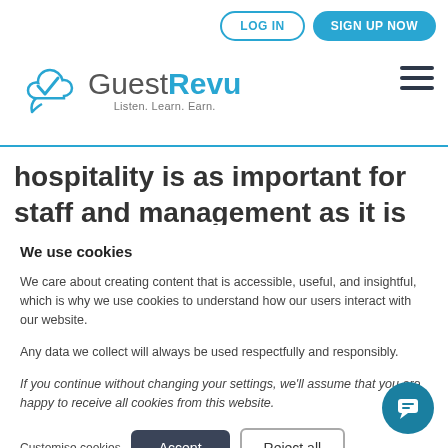LOG IN | SIGN UP NOW
[Figure (logo): GuestRevu logo with cloud checkmark icon and tagline Listen. Learn. Earn.]
hospitality is as important for staff and management as it is for guests. Art has been
We use cookies
We care about creating content that is accessible, useful, and insightful, which is why we use cookies to understand how our users interact with our website.
Any data we collect will always be used respectfully and responsibly.
If you continue without changing your settings, we'll assume that you are happy to receive all cookies from this website.
Customise cookies | Accept | Reject all